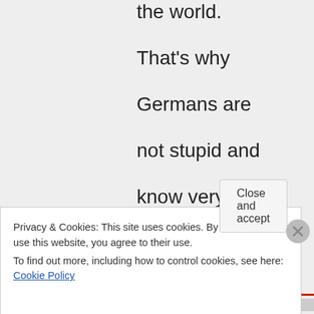the world. That's why Germans are not stupid and know very well the impact that GMO's have on the soils! A synthesized organism
Privacy & Cookies: This site uses cookies. By continuing to use this website, you agree to their use.
To find out more, including how to control cookies, see here: Cookie Policy
Close and accept